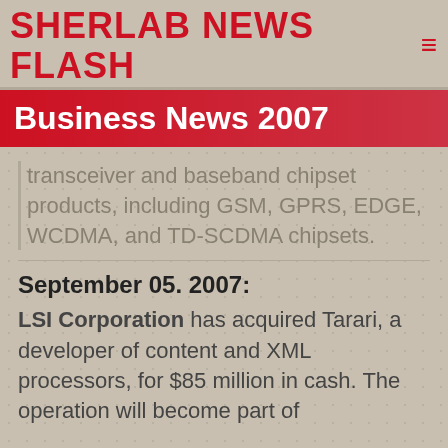Sherlab News Flash
Business News 2007
transceiver and baseband chipset products, including GSM, GPRS, EDGE, WCDMA, and TD-SCDMA chipsets.
September 05. 2007:
LSI Corporation has acquired Tarari, a developer of content and XML processors, for $85 million in cash. The operation will become part of